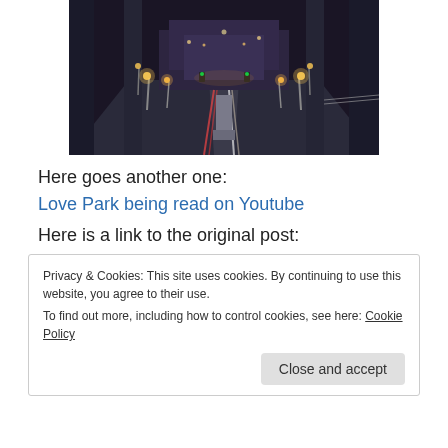[Figure (photo): Night photo of Love Park in Philadelphia with street lights illuminating a boulevard leading to a large building, taken through an arch or frame structure]
Here goes another one:
Love Park being read on Youtube
Here is a link to the original post:
Privacy & Cookies: This site uses cookies. By continuing to use this website, you agree to their use.
To find out more, including how to control cookies, see here: Cookie Policy
Close and accept